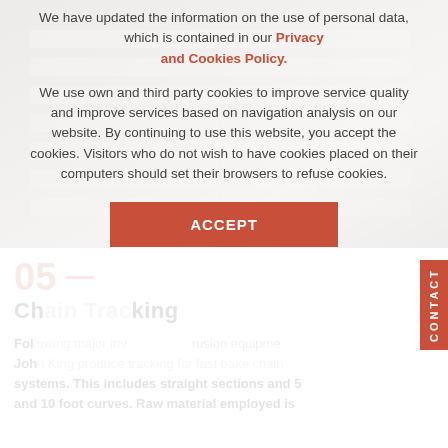[Figure (photo): Industrial shelving or rack equipment in a warehouse/factory setting, shown as background behind cookie consent overlay]
We have updated the information on the use of personal data, which is contained in our Privacy and Cookies Policy.

We use own and third party cookies to improve service quality and improve services based on navigation analysis on our website. By continuing to use this website, you accept the cookies. Visitors who do not wish to have cookies placed on their computers should set their browsers to refuse cookies.
ACCEPT
05
Chain Tracking
Following major inv... rusion equipment John King produce tracking for fast bake chain systems. This includes straight sections and 5 and 10 foot curves. Raw material employed is